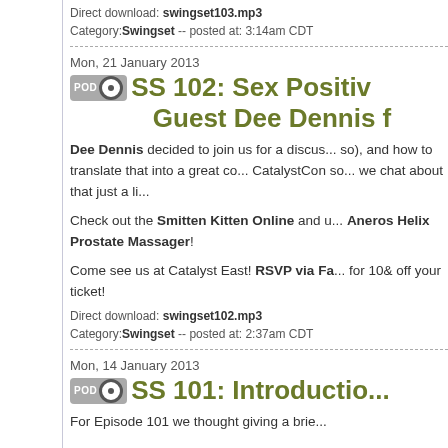Direct download: swingset103.mp3
Category: Swingset -- posted at: 3:14am CDT
Mon, 21 January 2013
SS 102: Sex Positiv... Guest Dee Dennis f...
Dee Dennis decided to join us for a discus... so), and how to translate that into a great co... CatalystCon so... we chat about that just a li...
Check out the Smitten Kitten Online and u... Aneros Helix Prostate Massager!
Come see us at Catalyst East! RSVP via Fa... for 10& off your ticket!
Direct download: swingset102.mp3
Category: Swingset -- posted at: 2:37am CDT
Mon, 14 January 2013
SS 101: Introductio...
For Episode 101 we thought giving a brie...
So, we reintroduce and define what we m... you need, what to expect, and how to pro... introductions, prep work, but this time wi... Progressive Swinging.